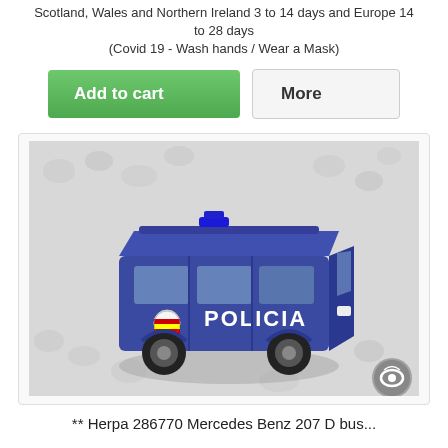Scotland, Wales and Northern Ireland 3 to 14 days and Europe 14 to 28 days
(Covid 19 - Wash hands / Wear a Mask)
[Figure (other): Two e-commerce buttons: green 'Add to cart' button and grey 'More' button]
[Figure (photo): Photo of a blue die-cast toy police van (Mercedes Benz 207 D bus) with 'POLICIA' text on the side and Spanish national police badge, placed on bubble wrap packaging.]
** Herpa 286770 Mercedes Benz 207 D bus...